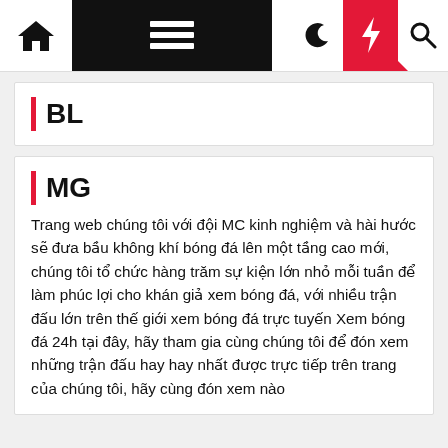Navigation bar with home, menu, moon, lightning, search icons
BL
MG
Trang web chúng tôi với đội MC kinh nghiệm và hài hước sẽ đưa bầu không khí bóng đá lên một tầng cao mới, chúng tôi tổ chức hàng trăm sự kiện lớn nhỏ mỗi tuần để làm phúc lợi cho khán giả xem bóng đá, với nhiều trận đấu lớn trên thế giới xem bóng đá trực tuyến Xem bóng đá 24h tại đây, hãy tham gia cùng chúng tôi để đón xem những trận đấu hay hay nhất được trực tiếp trên trang của chúng tôi, hãy cùng đón xem nào